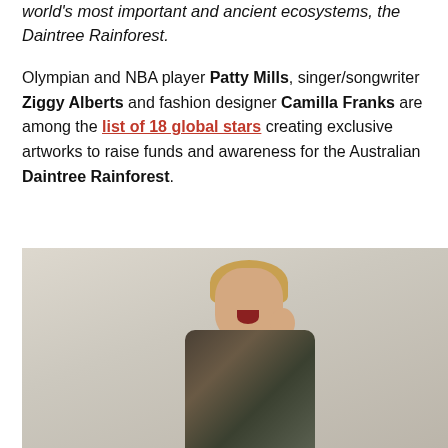world's most important and ancient ecosystems, the Daintree Rainforest.
Olympian and NBA player Patty Mills, singer/songwriter Ziggy Alberts and fashion designer Camilla Franks are among the list of 18 global stars creating exclusive artworks to raise funds and awareness for the Australian Daintree Rainforest.
[Figure (photo): A woman with short blonde hair laughing with her mouth open wide, wearing a patterned jacket, photographed against a light beige/cream background. She is touching her face with one hand.]